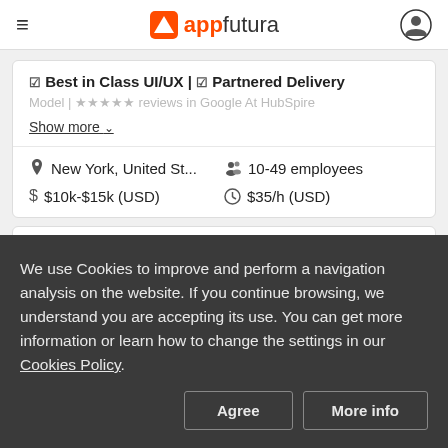appfutura
☑ Best in Class UI/UX | ☑ Partnered Delivery Model | ★★★★★ reviews in Google At HubSpire
Show more ▾
📍 New York, United St...   👤 10-49 employees   $ $10k-$15k (USD)   🕐 $35/h (USD)
We use Cookies to improve and perform a navigation analysis on the website. If you continue browsing, we understand you are accepting its use. You can get more information or learn how to change the settings in our Cookies Policy.
Agree
More info